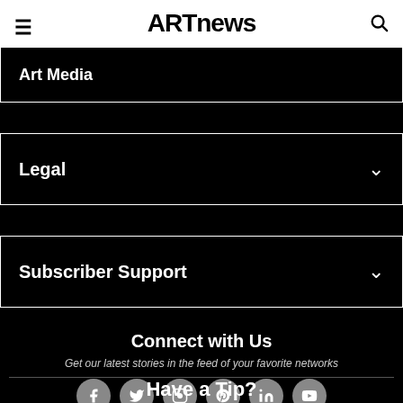ARTnews
Art Media
Legal
Subscriber Support
Connect with Us
Get our latest stories in the feed of your favorite networks
[Figure (infographic): Six social media icons in white circles: Facebook, Twitter, Instagram, Pinterest, LinkedIn, YouTube]
Have a Tip?